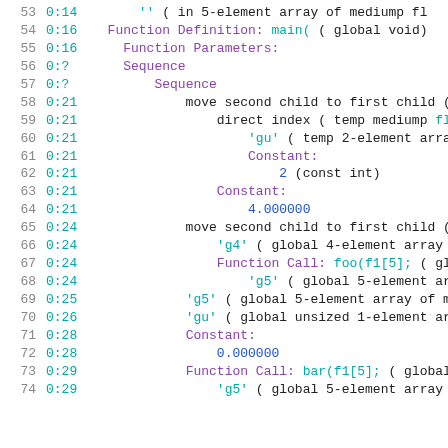[Figure (screenshot): Code listing showing a syntax tree or AST dump with line numbers, column numbers, and node descriptions. Lines 53-74 are visible. Colors: gray for line/col numbers, cyan for keywords and identifiers, purple for node type labels, blue for numbers and floats.]